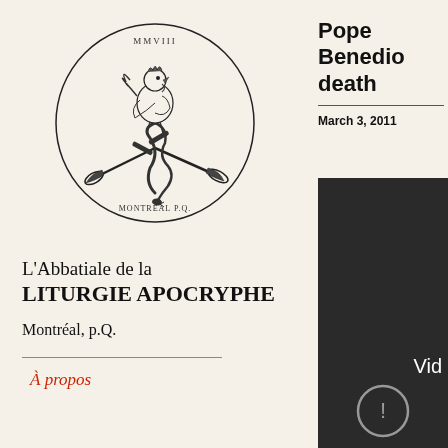[Figure (illustration): Circular emblem/logo with text 'MMVIII' at top and 'MONTRÉAL P.Q.' at bottom. Inside the circle: a rooster/cockerel at the top, two crossed trumpets with a snake winding around them.]
L'Abbatiale de la
LITURGIE APOCRYPHE
Montréal, p.Q.
À propos
Pope Benedict death
March 3, 2011
[Figure (screenshot): Dark video player thumbnail with 'Vid' text visible at bottom right and a circular play/error icon at the bottom center.]